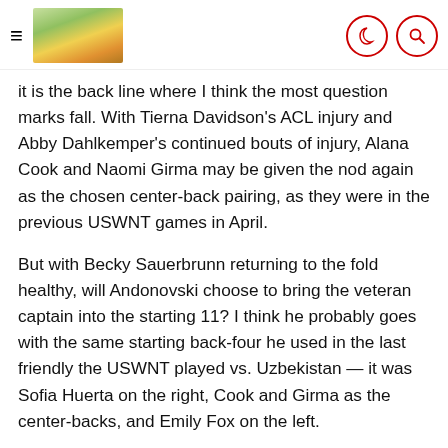[hamburger menu] [header image] [moon icon] [search icon]
it is the back line where I think the most question marks fall. With Tierna Davidson's ACL injury and Abby Dahlkemper's continued bouts of injury, Alana Cook and Naomi Girma may be given the nod again as the chosen center-back pairing, as they were in the previous USWNT games in April.
But with Becky Sauerbrunn returning to the fold healthy, will Andonovski choose to bring the veteran captain into the starting 11? I think he probably goes with the same starting back-four he used in the last friendly the USWNT played vs. Uzbekistan — it was Sofia Huerta on the right, Cook and Girma as the center-backs, and Emily Fox on the left.
That rare positional battle where a veteran may hold onto a spot challenged by a rookie is where the pair of